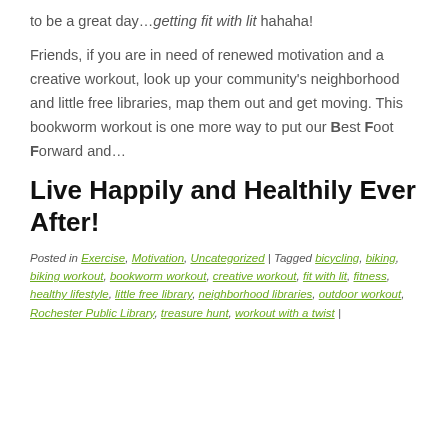to be a great day…getting fit with lit hahaha!
Friends, if you are in need of renewed motivation and a creative workout, look up your community's neighborhood and little free libraries, map them out and get moving. This bookworm workout is one more way to put our Best Foot Forward and…
Live Happily and Healthily Ever After!
Posted in Exercise, Motivation, Uncategorized | Tagged bicycling, biking, biking workout, bookworm workout, creative workout, fit with lit, fitness, healthy lifestyle, little free library, neighborhood libraries, outdoor workout, Rochester Public Library, treasure hunt, workout with a twist |